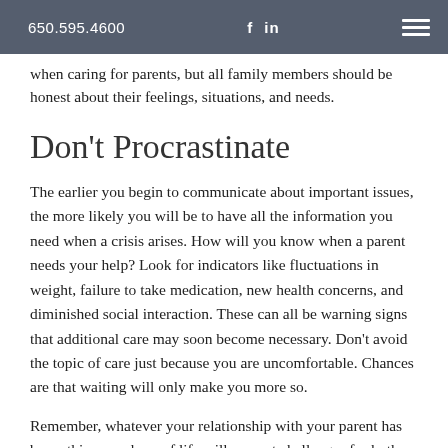650.595.4600   f  in
when caring for parents, but all family members should be honest about their feelings, situations, and needs.
Don't Procrastinate
The earlier you begin to communicate about important issues, the more likely you will be to have all the information you need when a crisis arises. How will you know when a parent needs your help? Look for indicators like fluctuations in weight, failure to take medication, new health concerns, and diminished social interaction. These can all be warning signs that additional care may soon become necessary. Don't avoid the topic of care just because you are uncomfortable. Chances are that waiting will only make you more so.
Remember, whatever your relationship with your parent has been, this new phase of life will present challenges for both